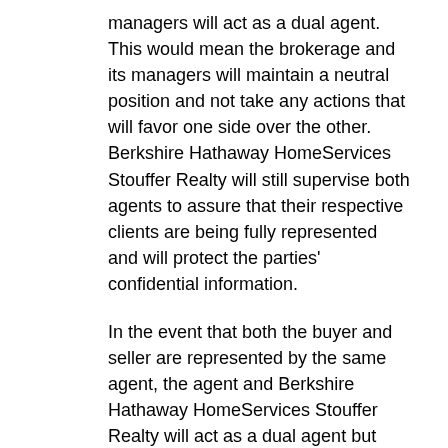managers will act as a dual agent. This would mean the brokerage and its managers will maintain a neutral position and not take any actions that will favor one side over the other. Berkshire Hathaway HomeServices Stouffer Realty will still supervise both agents to assure that their respective clients are being fully represented and will protect the parties' confidential information.
In the event that both the buyer and seller are represented by the same agent, the agent and Berkshire Hathaway HomeServices Stouffer Realty will act as a dual agent but only if both parties agree. As a dual agent, they will treat both parties honestly, prepare and present offers at the direction of the parties, and help the parties fulfill the terms of any contracts. They will not, however, disclose any confidential information that would place one party at an advantage over the other or advocate or negotiate to the detriment of either party.